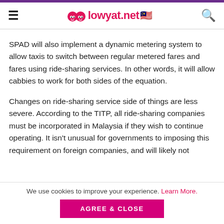lowyat.net
SPAD will also implement a dynamic metering system to allow taxis to switch between regular metered fares and fares using ride-sharing services. In other words, it will allow cabbies to work for both sides of the equation.
Changes on ride-sharing service side of things are less severe. According to the TITP, all ride-sharing companies must be incorporated in Malaysia if they wish to continue operating. It isn’t unusual for governments to imposing this requirement on foreign companies, and will likely not
We use cookies to improve your experience. Learn More.
AGREE & CLOSE